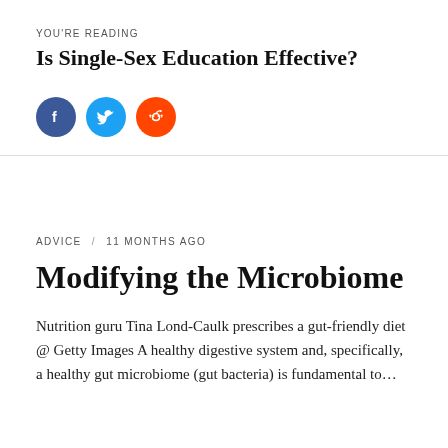YOU'RE READING
Is Single-Sex Education Effective?
[Figure (infographic): Three social media share buttons: Facebook (blue circle with f), Twitter (teal circle with bird icon), Reddit (orange circle with Reddit alien logo)]
ADVICE / 11 MONTHS AGO
Modifying the Microbiome
Nutrition guru Tina Lond-Caulk prescribes a gut-friendly diet @ Getty Images A healthy digestive system and, specifically, a healthy gut microbiome (gut bacteria) is fundamental to…